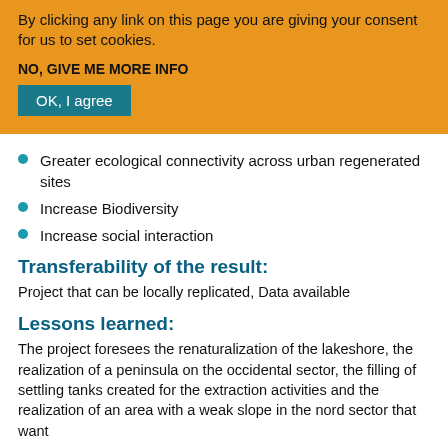By clicking any link on this page you are giving your consent for us to set cookies.
NO, GIVE ME MORE INFO
OK, I agree
Greater ecological connectivity across urban regenerated sites
Increase Biodiversity
Increase social interaction
Transferability of the result:
Project that can be locally replicated, Data available
Lessons learned:
The project foresees the renaturalization of the lakeshore, the realization of a peninsula on the occidental sector, the filling of settling tanks created for the extraction activities and the realization of an area with a weak slope in the nord sector that want